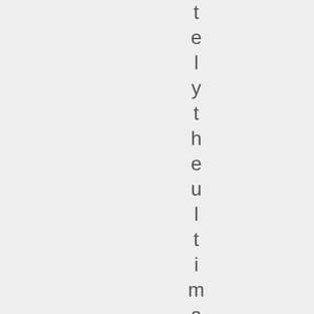t e l y t h e u l t i m a t e e